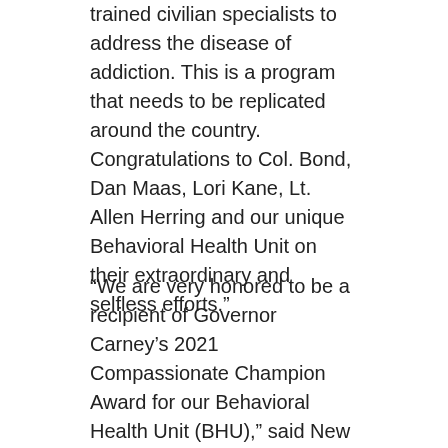trained civilian specialists to address the disease of addiction. This is a program that needs to be replicated around the country. Congratulations to Col. Bond, Dan Maas, Lori Kane, Lt. Allen Herring and our unique Behavioral Health Unit on their extraordinary and selfless efforts.”
“We are very honored to be a recipient of Governor Carney’s 2021 Compassionate Champion Award for our Behavioral Health Unit (BHU),” said New Castle County Police’s Major Wendi Feeser. “The New Castle County Division of Police recognizes that mental health and addiction impact the lives of many citizens we serve in numerous ways. It is our goal to assist those who are experiencing hardship, along with their families, and get them all the help, assistance, and services they need in an expeditious manner. While we have formed the BHU to lead this endeavor, we also provide all our officers with additional training